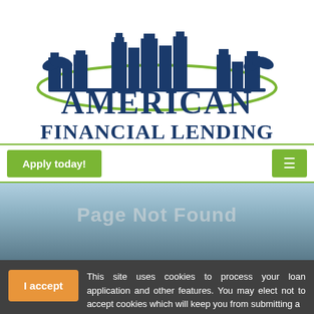[Figure (logo): American Financial Lending logo — dark navy blue city skyline with palm trees above a green arc, with text 'AMERICAN FINANCIAL LENDING' in large navy serif font below]
[Figure (other): Green 'Apply today!' button on left, green hamburger menu icon button on right, separated by white space, with green horizontal rule borders]
[Figure (photo): City skyline hero banner photo, slightly faded/washed out]
Page Not Found
This site uses cookies to process your loan application and other features. You may elect not to accept cookies which will keep you from submitting a loan application. By your clicked consent/acceptance you acknowledge and allow the use of cookies. By clicking I Accept you acknowledge you have read and understand American Financial Lending, Inc's Privacy Policy.